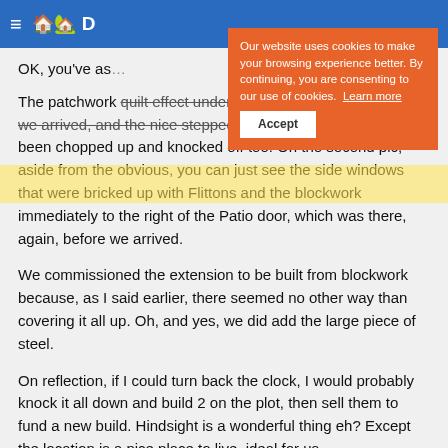≡ 🏠🏡D
Our website uses cookies to make your browsing experience better. By continuing, you are consenting to our use of cookies. Learn more
Accept
OK, you've as…
The patchwork quilt effect under the bays was done before we arrived, and the nice stepped detail at the slit windows had been chopped up and knocked off too. On the second pic, aside from the obvious, you can just see the side windows that were bricked up with Flittons and the blockwork immediately to the right of the Patio door, which was there, again, before we arrived.
We commissioned the extension to be built from blockwork because, as I said earlier, there seemed no other way than covering it all up. Oh, and yes, we did add the large piece of steel.
On reflection, if I could turn back the clock, I would probably knock it all down and build 2 on the plot, then sell them to fund a new build. Hindsight is a wonderful thing eh? Except the location is a nice place to live, ideal for us.